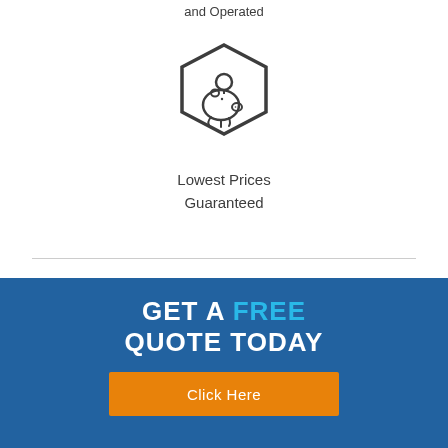and Operated
[Figure (illustration): Hexagon icon containing a piggy bank with a coin above it, drawn in dark outline style on white background]
Lowest Prices
Guaranteed
GET A FREE
QUOTE TODAY
Click Here